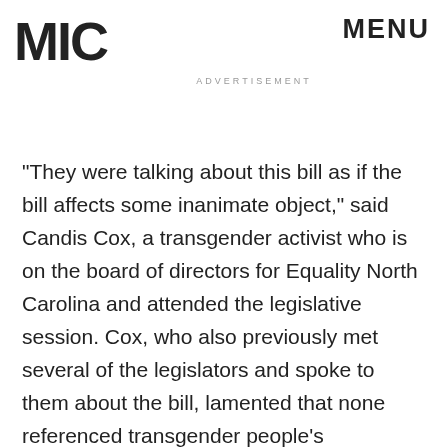MIC
MENU
ADVERTISEMENT
"They were talking about this bill as if the bill affects some inanimate object," said Candis Cox, a transgender activist who is on the board of directors for Equality North Carolina and attended the legislative session. Cox, who also previously met several of the legislators and spoke to them about the bill, lamented that none referenced transgender people's predicament.